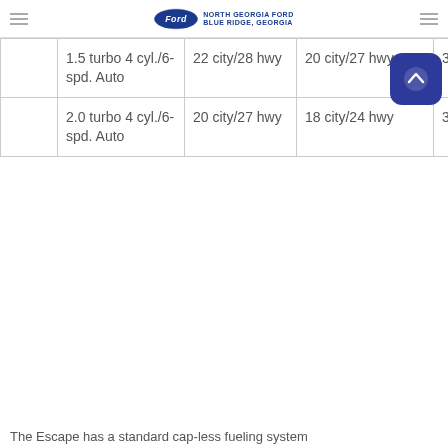NORTH GEORGIA FORD BLUE RIDGE, GEORGIA
|  | Engine | FWD MPG | AWD MPG |  |
| --- | --- | --- | --- | --- |
|  | 1.5 turbo 4 cyl./6-spd. Auto | 22 city/28 hwy | 20 city/27 hwy | 3.2 V6/A |
|  | 2.0 turbo 4 cyl./6-spd. Auto | 20 city/27 hwy | 18 city/24 hwy | 3.2 V6/A |
The Escape has a standard cap-less fueling system